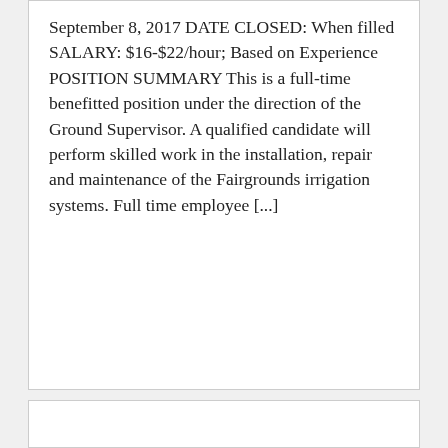September 8, 2017 DATE CLOSED: When filled SALARY: $16-$22/hour; Based on Experience POSITION SUMMARY This is a full-time benefitted position under the direction of the Ground Supervisor. A qualified candidate will perform skilled work in the installation, repair and maintenance of the Fairgrounds irrigation systems. Full time employee [...]